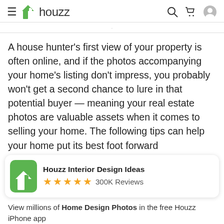≡ h houzz
A house hunter's first view of your property is often online, and if the photos accompanying your home's listing don't impress, you probably won't get a second chance to lure in that potential buyer — meaning your real estate photos are valuable assets when it comes to selling your home. The following tips can help your home put its best foot forward
[Figure (logo): Houzz app banner with green logo icon, title 'Houzz Interior Design Ideas', five gold stars, and '300K Reviews']
View millions of Home Design Photos in the free Houzz iPhone app
Continue
Go to Mobile Site